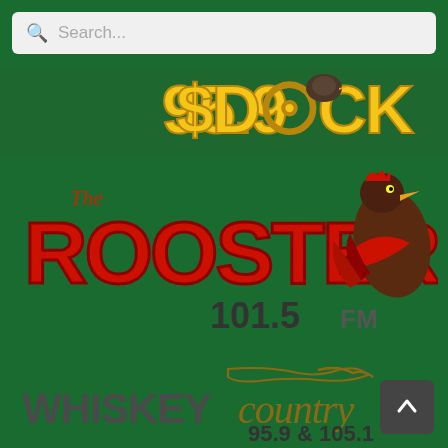[Figure (screenshot): Search bar with magnifying glass icon and placeholder text 'Search...']
[Figure (logo): 95.9 The Dock radio station logo in yellow/gold text on dark background]
[Figure (logo): The Rooster 101.5 FM radio station logo with rooster mascot in red and brown]
[Figure (logo): Whiskey Country 95.9 & 105.1 radio station logo in brown/tan text on green background]